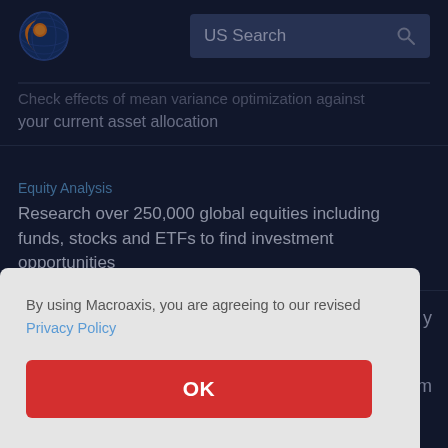[Figure (logo): Macroaxis globe logo — orange and blue circular icon]
US Search
Check effects of mean variance optimization against your current asset allocation
Equity Analysis
Research over 250,000 global equities including funds, stocks and ETFs to find investment opportunities
By using Macroaxis, you are agreeing to our revised Privacy Policy
OK